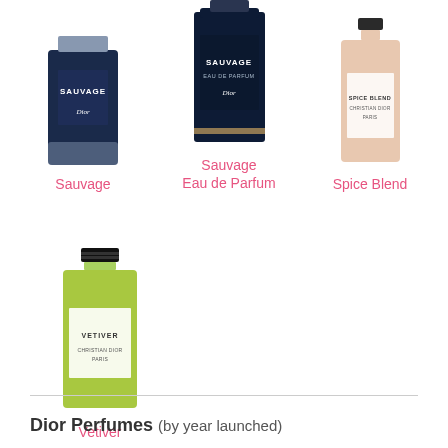[Figure (photo): Dior Sauvage EDT perfume bottle]
Sauvage
[Figure (photo): Dior Sauvage Eau de Parfum perfume bottle]
Sauvage
Eau de Parfum
[Figure (photo): Dior Spice Blend perfume bottle]
Spice Blend
[Figure (photo): Dior Vetiver perfume bottle (green liquid)]
Vetiver
Dior Perfumes (by year launched)